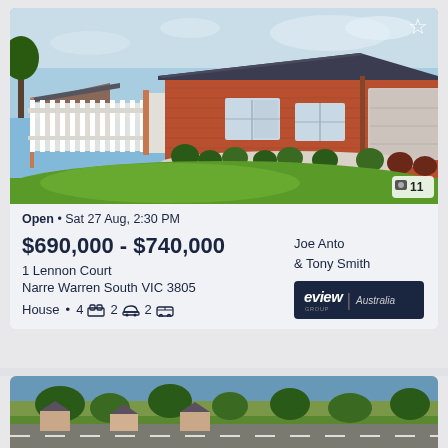[Figure (photo): Exterior photo of a single-story brick house with white picket fence, green lawn, shrubs, and grey tiled roof under blue sky]
Open • Sat 27 Aug, 2:30 PM
$690,000 - $740,000
1 Lennon Court
Narre Warren South VIC 3805
House • 4 [bed] 2 [bath] 2 [car]
Joe Anto & Tony Smith
[Figure (logo): eview GROUP | Australia agency logo, white text on dark navy background]
[Figure (photo): Partial exterior aerial/street photo of second property listing, partially visible at bottom of page]